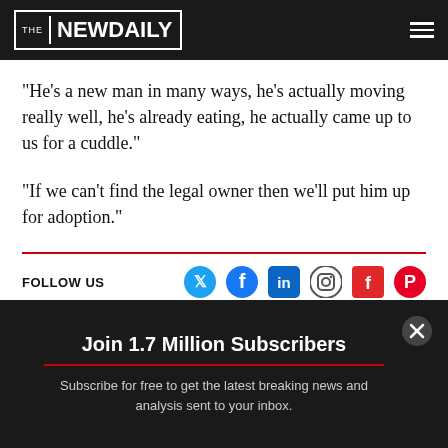THE NEW DAILY
“He’s a new man in many ways, he’s actually moving really well, he’s already eating, he actually came up to us for a cuddle.”
“If we can’t find the legal owner then we’ll put him up for adoption.”
FOLLOW US
[Figure (infographic): Social media icons: Twitter, Facebook, LinkedIn, Instagram, Flipboard, Pinterest]
Join 1.7 Million Subscribers
Subscribe for free to get the latest breaking news and analysis sent to your inbox.